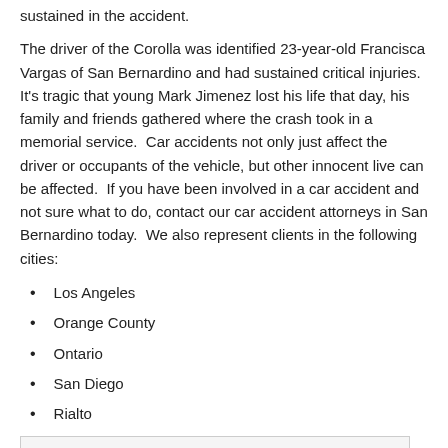sustained in the accident.
The driver of the Corolla was identified 23-year-old Francisca Vargas of San Bernardino and had sustained critical injuries.  It's tragic that young Mark Jimenez lost his life that day, his family and friends gathered where the crash took in a memorial service.  Car accidents not only just affect the driver or occupants of the vehicle, but other innocent live can be affected.  If you have been involved in a car accident and not sure what to do, contact our car accident attorneys in San Bernardino today.  We also represent clients in the following cities:
Los Angeles
Orange County
Ontario
San Diego
Rialto
tweet
[Figure (other): Social sharing buttons: Facebook Share button (blue) and a red button]